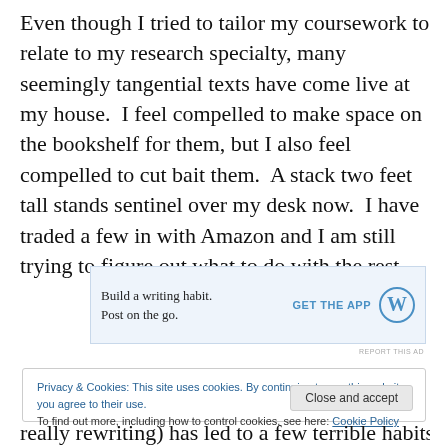Even though I tried to tailor my coursework to relate to my research specialty, many seemingly tangential texts have come live at my house.  I feel compelled to make space on the bookshelf for them, but I also feel compelled to cut bait them.  A stack two feet tall stands sentinel over my desk now.  I have traded a few in with Amazon and I am still trying to figure out what to do with the rest.
[Figure (screenshot): WordPress advertisement banner: 'Build a writing habit. Post on the go.' with GET THE APP call to action and WordPress logo]
Privacy & Cookies: This site uses cookies. By continuing to use this website, you agree to their use.
To find out more, including how to control cookies, see here: Cookie Policy
really rewriting) has led to a few terrible habits.  I am not